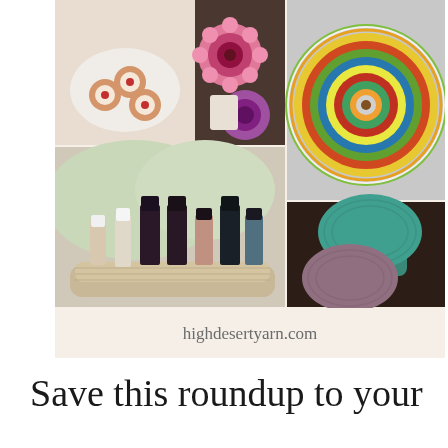[Figure (photo): Collage of four crochet project photos: top-left shows cookies/tarts on a plate and crochet coasters, top-right shows a colorful circular mandala crochet piece, middle-left shows nail polish bottles in a crocheted tray/basket, middle-right shows two small crocheted pillows in teal and mauve colors. Below the collage is the website URL highdesertyarn.com on a light beige background.]
highdesertyarn.com
Save this roundup to your